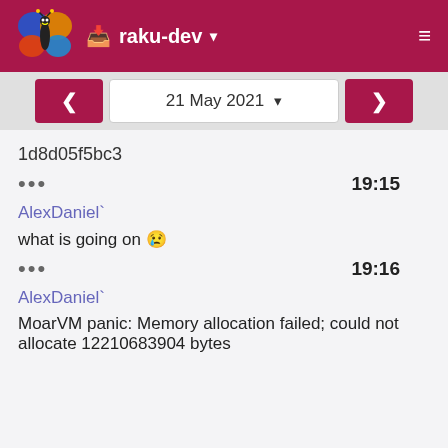raku-dev
21 May 2021
1d8d05f5bc3
... 19:15
AlexDaniel`
what is going on 😢
... 19:16
AlexDaniel`
MoarVM panic: Memory allocation failed; could not allocate 12210683904 bytes